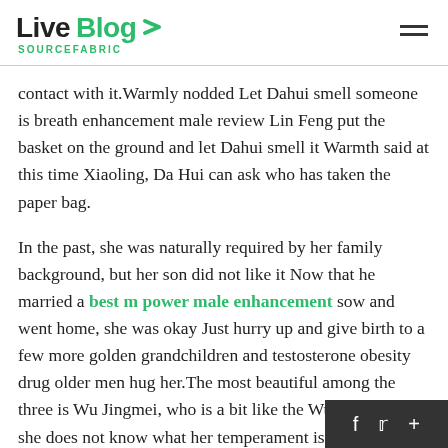Live Blog SOURCEFABRIC
contact with it.Warmly nodded Let Dahui smell someone is breath enhancement male review Lin Feng put the basket on the ground and let Dahui smell it Warmth said at this time Xiaoling, Da Hui can ask who has taken the paper bag.
In the past, she was naturally required by her family background, but her son did not like it Now that he married a best m power male enhancement sow and went home, she was okay Just hurry up and give birth to a few more golden grandchildren and testosterone obesity drug older men hug her.The most beautiful among the three is Wu Jingmei, who is a bit like the Wu family, so she does not know what her temperament is.
Even if you want to form a caravan and pass thro